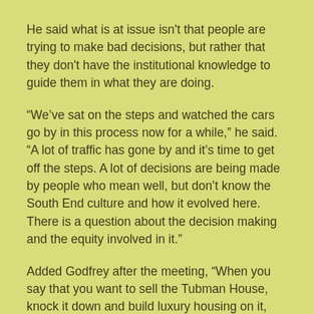He said what is at issue isn't that people are trying to make bad decisions, but rather that they don't have the institutional knowledge to guide them in what they are doing.
“We’ve sat on the steps and watched the cars go by in this process now for a while,” he said. “A lot of traffic has gone by and it’s time to get off the steps. A lot of decisions are being made by people who mean well, but don’t know the South End culture and how it evolved here. There is a question about the decision making and the equity involved in it.”
Added Godfrey after the meeting, “When you say that you want to sell the Tubman House, knock it down and build luxury housing on it, while at the same time slapping the Tubman House name on another building in another location, it tells me one thing: You aren’t from Boston.”
What seems to also be in play is the two South Ends – in terms of how people hear about things, what some hold important as history in the neighborhood, and what the definition of…